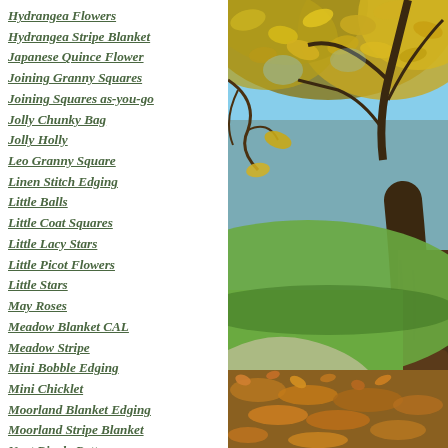Hydrangea Flowers
Hydrangea Stripe Blanket
Japanese Quince Flower
Joining Granny Squares
Joining Squares as-you-go
Jolly Chunky Bag
Jolly Holly
Leo Granny Square
Linen Stitch Edging
Little Balls
Little Coat Squares
Little Lacy Stars
Little Picot Flowers
Little Stars
May Roses
Meadow Blanket CAL
Meadow Stripe
Mini Bobble Edging
Mini Chicklet
Moorland Blanket Edging
Moorland Stripe Blanket
Neat Ripple Pattern
Neat Wave Pattern
Polyanthus Flower
Positivity Mandala Hoop
Pretty Crochet Trim
[Figure (photo): Autumn park scene with a tree trunk on the right, golden-yellow leaves on branches and covering the ground, green grass in the middle distance, and a light blue sky visible through the canopy.]